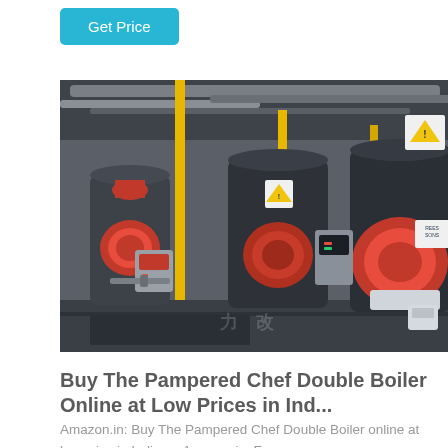Get Price
[Figure (photo): Industrial boiler room with multiple large horizontal boilers featuring red burner heads, yellow vertical pipes, gray control panels, and warning signs. Multiple units lined up in a factory/industrial setting.]
Buy The Pampered Chef Double Boiler Online at Low Prices in Ind...
Amazon.in: Buy The Pampered Chef Double Boiler online at low price in India on Amazon.in. Free